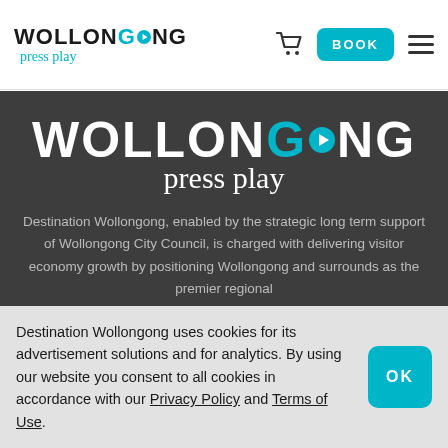WOLLONGONG press play — BOOK
[Figure (logo): Wollongong Press Play logo — large white text on dark background]
Destination Wollongong, enabled by the strategic long term support of Wollongong City Council, is charged with delivering visitor economy growth by positioning Wollongong and surrounds as the premier regional
Destination Wollongong uses cookies for its advertisement solutions and for analytics. By using our website you consent to all cookies in accordance with our Privacy Policy and Terms of Use.